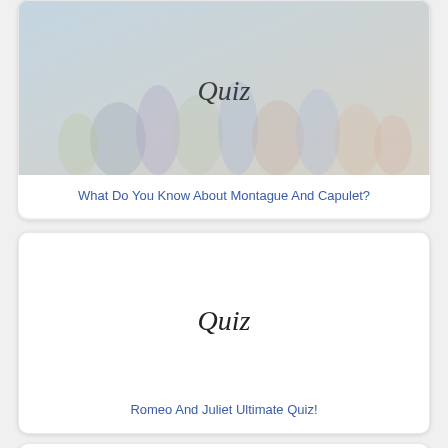[Figure (illustration): Quiz card image showing a group of people on stage, with 'Quiz' written in cursive over the image.]
What Do You Know About Montague And Capulet?
[Figure (illustration): White quiz card image with 'Quiz' written in cursive in the center.]
Romeo And Juliet Ultimate Quiz!